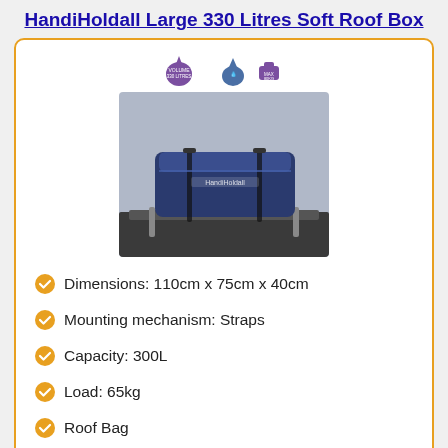HandiHoldall Large 330 Litres Soft Roof Box
[Figure (photo): Blue soft roof bag mounted on top of a car, with product icons showing volume 330 litres, waterproof, and max load above the photo.]
Dimensions: 110cm x 75cm x 40cm
Mounting mechanism: Straps
Capacity: 300L
Load: 65kg
Roof Bag
Needs roof bars
Weather Resistant